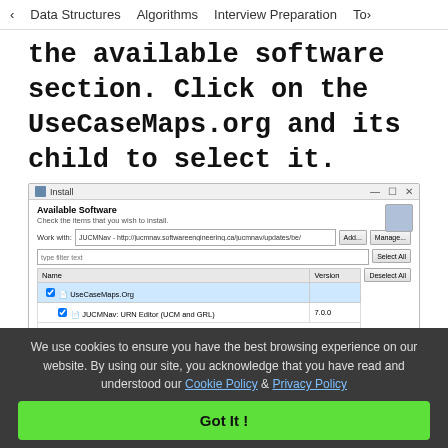< Data Structures   Algorithms   Interview Preparation   To>
the available software section. Click on the UseCaseMaps.org and its child to select it.
[Figure (screenshot): Eclipse Install dialog showing Available Software section with UseCaseMaps.Org and JUCMNav: URN Editor (UCM and GRL) version 7.0.0 listed. A red upward arrow points to the checkbox row. Buttons: Add, Manage, Select All, Deselect All.]
We use cookies to ensure you have the best browsing experience on our website. By using our site, you acknowledge that you have read and understood our Cookie Policy & Privacy Policy
Got It !